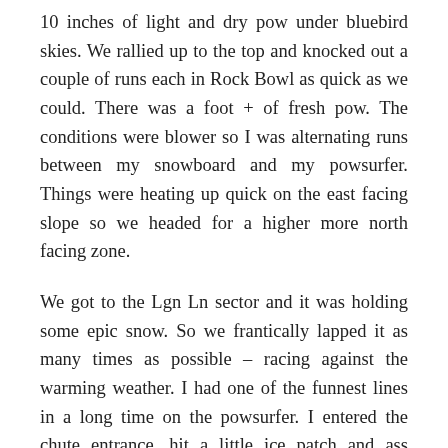10 inches of light and dry pow under bluebird skies. We rallied up to the top and knocked out a couple of runs each in Rock Bowl as quick as we could. There was a foot + of fresh pow. The conditions were blower so I was alternating runs between my snowboard and my powsurfer. Things were heating up quick on the east facing slope so we headed for a higher more north facing zone.
We got to the Lgn Ln sector and it was holding some epic snow. So we frantically lapped it as many times as possible – racing against the warming weather. I had one of the funnest lines in a long time on the powsurfer. I entered the chute entrance, hit a little ice patch and ass checked the top of the chute, causing a wet slide that would take me down about 50ft and land me in a pile of wet debris... it was more funny than scary. I got my board back under my feet and had the